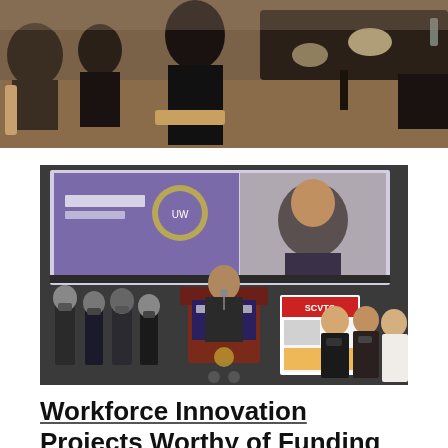[Figure (photo): People seated at tables in a room, casual event setting with chairs and tables visible.]
[Figure (photo): Press conference or announcement event showing a speaker at a podium with University of Wisconsin Eau Claire branding, an SCVTC banner visible to the right, and a projection screen showing a video call or presentation. Multiple attendees wearing masks stand in the background.]
Workforce Innovation Projects Worthy of Funding